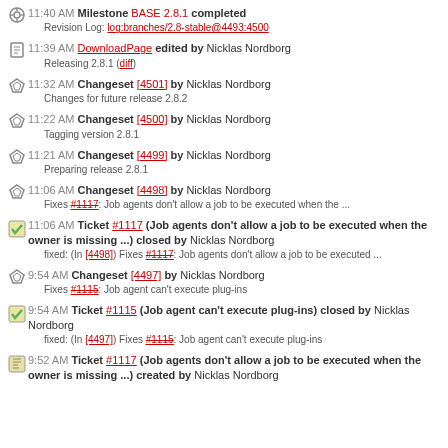11:40 AM Milestone BASE 2.8.1 completed
Revision Log: log:branches/2.8-stable@4493:4500
11:39 AM DownloadPage edited by Nicklas Nordborg
Releasing 2.8.1 (diff)
11:32 AM Changeset [4501] by Nicklas Nordborg
Changes for future release 2.8.2
11:22 AM Changeset [4500] by Nicklas Nordborg
Tagging version 2.8.1
11:21 AM Changeset [4499] by Nicklas Nordborg
Preparing release 2.8.1
11:06 AM Changeset [4498] by Nicklas Nordborg
Fixes #1117: Job agents don't allow a job to be executed when the ...
11:06 AM Ticket #1117 (Job agents don't allow a job to be executed when the owner is missing ...) closed by Nicklas Nordborg
fixed: (In [4498]) Fixes #1117: Job agents don't allow a job to be executed ...
9:54 AM Changeset [4497] by Nicklas Nordborg
Fixes #1115: Job agent can't execute plug-ins
9:54 AM Ticket #1115 (Job agent can't execute plug-ins) closed by Nicklas Nordborg
fixed: (In [4497]) Fixes #1115: Job agent can't execute plug-ins
9:52 AM Ticket #1117 (Job agents don't allow a job to be executed when the owner is missing ...) created by Nicklas Nordborg